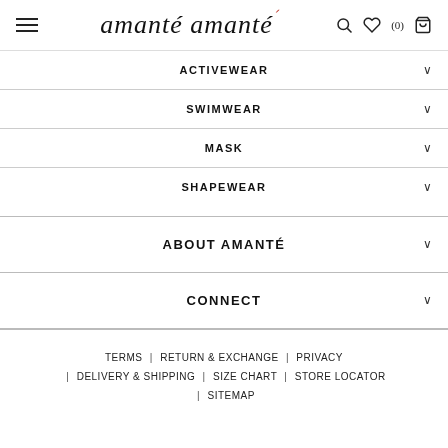amanté — navigation header with hamburger menu, search, wishlist (0), and cart icons
ACTIVEWEAR
SWIMWEAR
MASK
SHAPEWEAR
ABOUT AMANTÉ
CONNECT
TERMS | RETURN & EXCHANGE | PRIVACY | DELIVERY & SHIPPING | SIZE CHART | STORE LOCATOR | SITEMAP